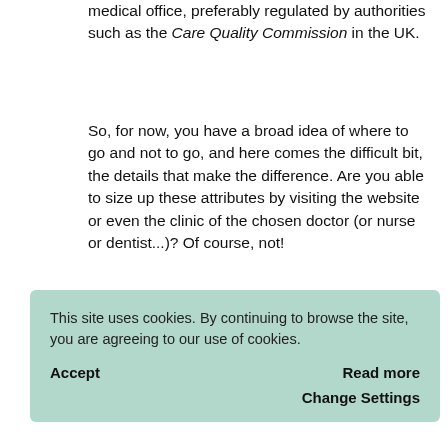medical office, preferably regulated by authorities such as the Care Quality Commission in the UK.
So, for now, you have a broad idea of where to go and not to go, and here comes the difficult bit, the details that make the difference. Are you able to size up these attributes by visiting the website or even the clinic of the chosen doctor (or nurse or dentist...)? Of course, not!
I have made it very simple for you. I have worked out a 'Declaration' as part of the Safe Aesthetic Treatments Campaign, that you can download and print out and give to [your practitioner]. By doing so [...] detailed [...] what it is [...] assured [...] ve your [...] etter for both of you if no treatment takes place.
[Figure (screenshot): Cookie consent overlay with green background. Text: 'This site uses cookies. By continuing to browse the site, you are agreeing to our use of cookies.' Buttons: Accept, Read more, Change Settings.]